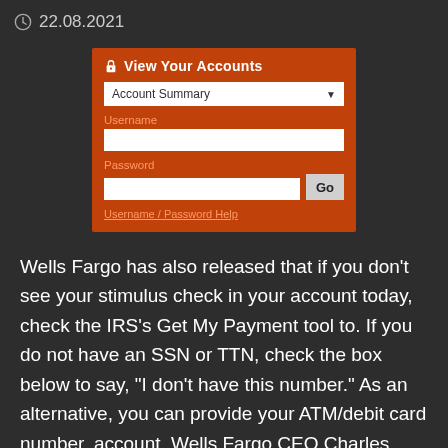22.08.2021
[Figure (screenshot): Wells Fargo 'View Your Accounts' login widget with orange background, Account Summary dropdown, Username field, Password field with Go button, and Username / Password Help link.]
Wells Fargo has also released that if you don't see your stimulus check in your account today, check the IRS's Get My Payment tool to. If you do not have an SSN or TTN, check the box below to say, "I don't have this number." As an alternative, you can provide your ATM/debit card number, account. Wells Fargo CEO Charles Scharf has